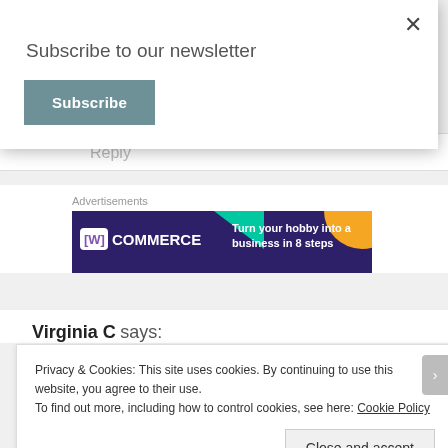Subscribe to our newsletter
Subscribe
Reply
Advertisements
[Figure (illustration): WooCommerce advertisement banner: dark purple background with teal and orange geometric shapes and white text reading 'WooCommerce - Turn your hobby into a business in 8 steps']
Virginia C says:
Privacy & Cookies: This site uses cookies. By continuing to use this website, you agree to their use.
To find out more, including how to control cookies, see here: Cookie Policy
Close and accept